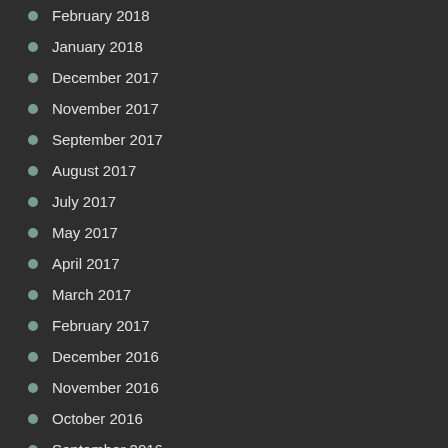February 2018
January 2018
December 2017
November 2017
September 2017
August 2017
July 2017
May 2017
April 2017
March 2017
February 2017
December 2016
November 2016
October 2016
September 2016